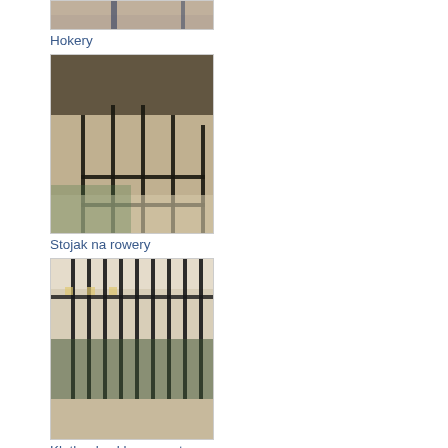[Figure (photo): Partial top image clipped at top of page, appears to show wooden/metal structures]
Hokery
[Figure (photo): Photo of a metal bike rack / standing structure with vertical and horizontal bars, set outdoors near a building]
Stojak na rowery
[Figure (photo): Photo of a metal cage/enclosure with vertical bars and a green floor, used for a sports shop]
Klatka do sklepu sportowego
[Figure (photo): Partially visible image at bottom of page, clipped]